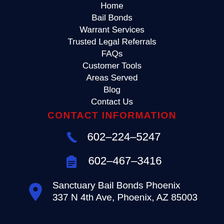Home
Bail Bonds
Warrant Services
Trusted Legal Referrals
FAQs
Customer Tools
Areas Served
Blog
Contact Us
CONTACT INFORMATION
602-224-5247
602-467-3416
Sanctuary Bail Bonds Phoenix
337 N 4th Ave, Phoenix, AZ 85003